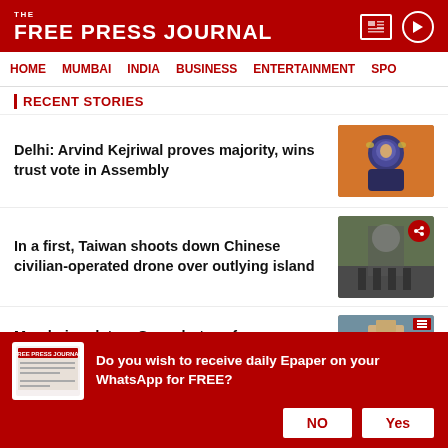THE FREE PRESS JOURNAL
HOME  MUMBAI  INDIA  BUSINESS  ENTERTAINMENT  SPO
RECENT STORIES
Delhi: Arvind Kejriwal proves majority, wins trust vote in Assembly
[Figure (photo): Photo of Arvind Kejriwal smiling]
In a first, Taiwan shoots down Chinese civilian-operated drone over outlying island
[Figure (photo): Photo of military personnel near a monument]
Mumbai updates: Ganeshotsav fervour envelops city; CM, citizens and celebs welcome Bappa
[Figure (photo): Photo of Mumbai cityscape with heritage building]
India's first indigenous cervical cancer
[Figure (photo): Partial photo - teal/blue tones]
Do you wish to receive daily Epaper on your WhatsApp for FREE?